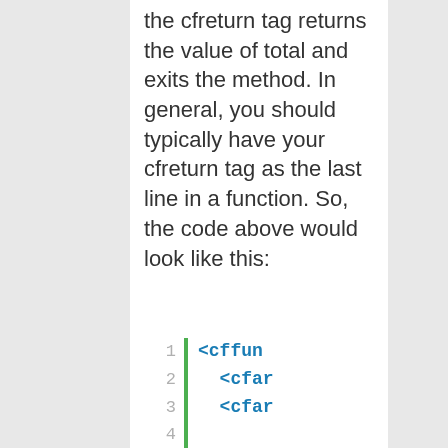the cfreturn tag returns the value of total and exits the method. In general, you should typically have your cfreturn tag as the last line in a function. So, the code above would look like this:
1  <cffun
2    <cfar
3    <cfar
4